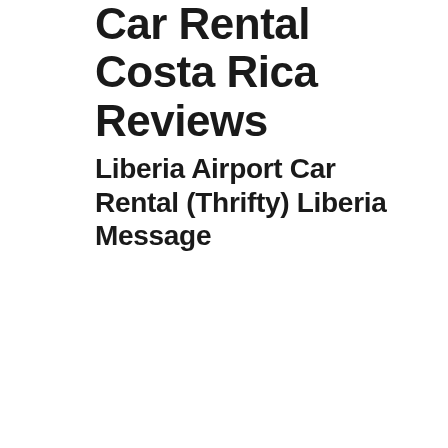Car Rental Costa Rica Reviews
Liberia Airport Car Rental (Thrifty) Liberia Message
[Figure (screenshot): YouTube video embed thumbnail showing 'Avoiding Pitfalls of Renting...' with a channel icon C in pink/magenta, VAMOS rental car logo in green, play button overlay, and text 'only charges... day for...' over a green landscape background.]